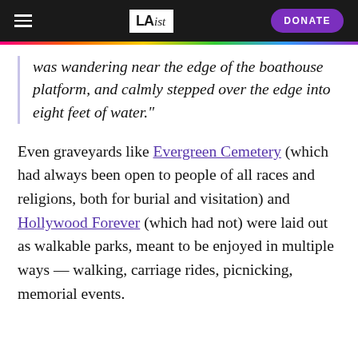LAist — DONATE
was wandering near the edge of the boathouse platform, and calmly stepped over the edge into eight feet of water."
Even graveyards like Evergreen Cemetery (which had always been open to people of all races and religions, both for burial and visitation) and Hollywood Forever (which had not) were laid out as walkable parks, meant to be enjoyed in multiple ways — walking, carriage rides, picnicking, memorial events.